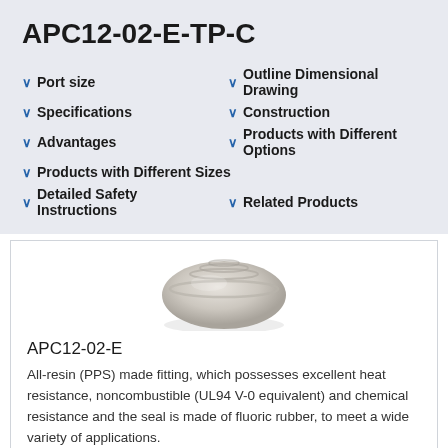APC12-02-E-TP-C
Port size
Outline Dimensional Drawing
Specifications
Construction
Advantages
Products with Different Options
Products with Different Sizes
Detailed Safety Instructions
Related Products
[Figure (photo): Photo of APC12-02-E fitting, a round resin fitting component shown from top angle with ridged/threaded top surface, beige/gray color]
APC12-02-E
All-resin (PPS) made fitting, which possesses excellent heat resistance, noncombustible (UL94 V-0 equivalent) and chemical resistance and the seal is made of fluoric rubber, to meet a wide variety of applications.